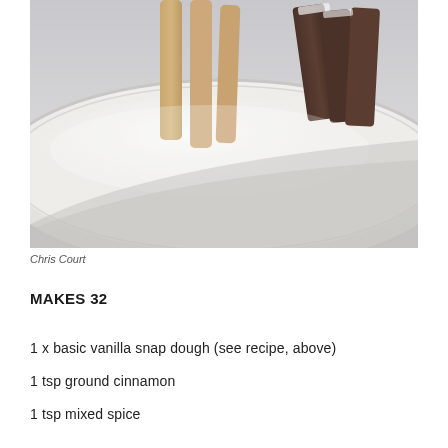[Figure (photo): Close-up photograph of a white ceramic plate dusted with powdered sugar, holding light tan and dark chocolate stick-shaped cookies standing upright, with more dark chocolate cookies stacked on the right side, set against a light grey background.]
Chris Court
MAKES 32
1 x basic vanilla snap dough (see recipe, above)
1 tsp ground cinnamon
1 tsp mixed spice